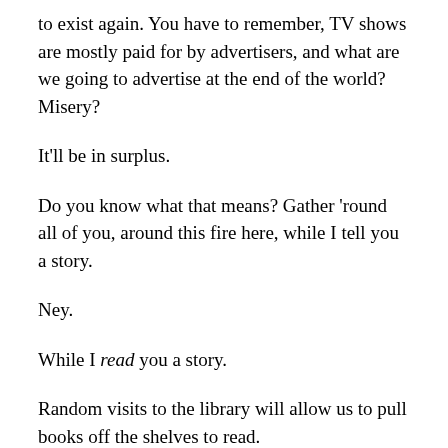to exist again. You have to remember, TV shows are mostly paid for by advertisers, and what are we going to advertise at the end of the world? Misery?
It'll be in surplus.
Do you know what that means? Gather 'round all of you, around this fire here, while I tell you a story.
Ney.
While I read you a story.
Random visits to the library will allow us to pull books off the shelves to read.